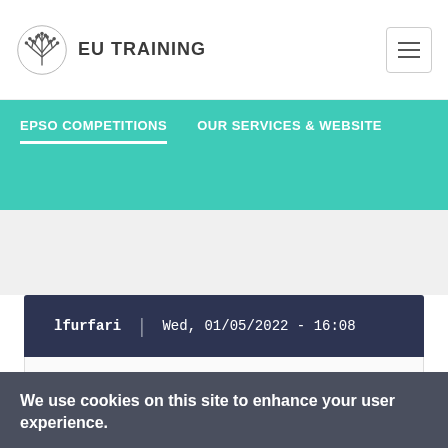EU TRAINING
EPSO COMPETITIONS | OUR SERVICES & WEBSITE
lfurfari | Wed, 01/05/2022 - 16:08
We use cookies on this site to enhance your user experience.
only necessary cookies | allow selected cookies | allow all cookies
necessary   statistics   marketing   targeted offers  More info